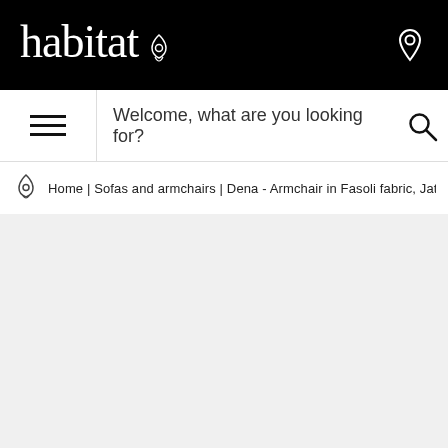habitat
Welcome, what are you looking for?
Home | Sofas and armchairs | Dena - Armchair in Fasoli fabric, Jatoba brown ·